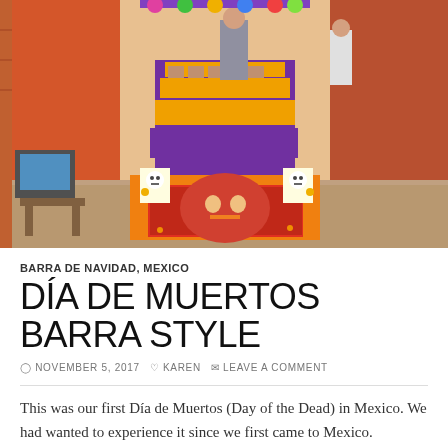[Figure (photo): Indoor Día de Muertos ofrenda altar with colorful decorations, marigold flowers, photos of deceased, sugar skull artwork on the floor, and people standing in the background in a Mexican setting with orange walls]
BARRA DE NAVIDAD, MEXICO
DÍA DE MUERTOS BARRA STYLE
NOVEMBER 5, 2017  KAREN  LEAVE A COMMENT
This was our first Día de Muertos (Day of the Dead) in Mexico. We had wanted to experience it since we first came to Mexico.